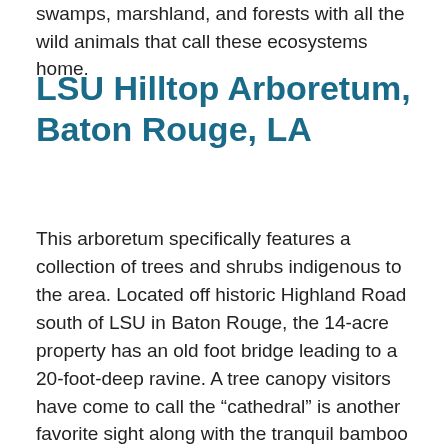swamps, marshland, and forests with all the wild animals that call these ecosystems home.
LSU Hilltop Arboretum, Baton Rouge, LA
This arboretum specifically features a collection of trees and shrubs indigenous to the area. Located off historic Highland Road south of LSU in Baton Rouge, the 14-acre property has an old foot bridge leading to a 20-foot-deep ravine. A tree canopy visitors have come to call the “cathedral” is another favorite sight along with the tranquil bamboo grove. A meadow and tiny pond that has a fine, wooden gazebo also awaits on the property providing views of wild flowers and birds during the different seasons. This arboretum is a little forest oasis in the capital city with information throughout the park.